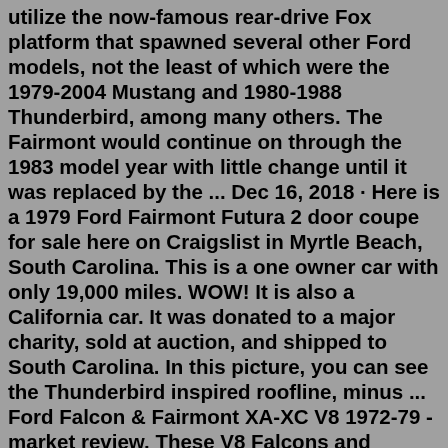utilize the now-famous rear-drive Fox platform that spawned several other Ford models, not the least of which were the 1979-2004 Mustang and 1980-1988 Thunderbird, among many others. The Fairmont would continue on through the 1983 model year with little change until it was replaced by the ... Dec 16, 2018 · Here is a 1979 Ford Fairmont Futura 2 door coupe for sale here on Craigslist in Myrtle Beach, South Carolina. This is a one owner car with only 19,000 miles. WOW! It is also a California car. It was donated to a major charity, sold at auction, and shipped to South Carolina. In this picture, you can see the Thunderbird inspired roofline, minus ... Ford Falcon & Fairmont XA-XC V8 1972-79 - market review. These V8 Falcons and Fairmonts still offer good value and, providing fuel prices don't skyrocket, work well as short-haul family transport. ... Ford XB Falcon GT 351 Coupe. 20 Oct 2014. Almost a quarter of a century of ownership hasn't dimmed Dave DiRado's passion for his XB GT 351 ...It looked exactly like a sending unit for my .80 Futura. Even